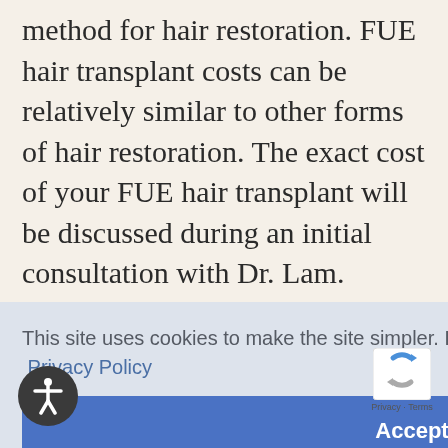method for hair restoration. FUE hair transplant costs can be relatively similar to other forms of hair restoration. The exact cost of your FUE hair transplant will be discussed during an initial consultation with Dr. Lam. During this consultation, your hair restoration needs and desires will be assessed by Dr. Lam and he will provide you with a precise cost based on a variety of factors that are unique to your case.
This site uses cookies to make the site simpler. Further information is provided in our Privacy Policy
Accept
possible about FUE hair transplant pricing